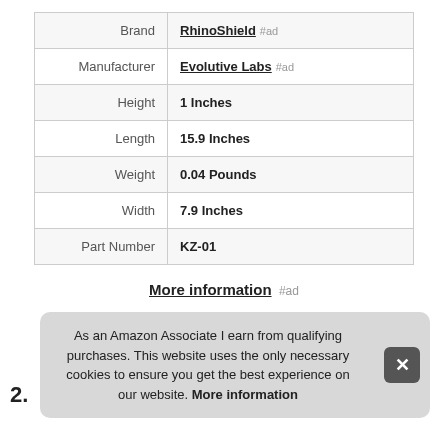| Attribute | Value |
| --- | --- |
| Brand | RhinoShield #ad |
| Manufacturer | Evolutive Labs #ad |
| Height | 1 Inches |
| Length | 15.9 Inches |
| Weight | 0.04 Pounds |
| Width | 7.9 Inches |
| Part Number | KZ-01 |
More information #ad
As an Amazon Associate I earn from qualifying purchases. This website uses the only necessary cookies to ensure you get the best experience on our website. More information
2.